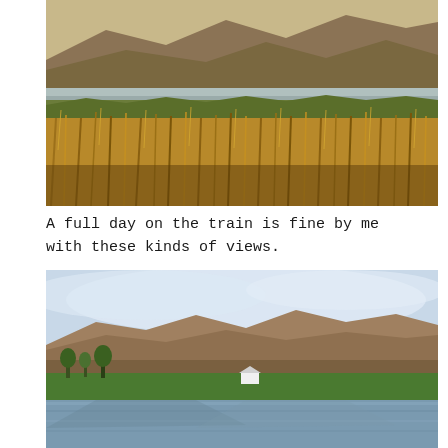[Figure (photo): Landscape photo showing golden dry grasses in the foreground with a river or body of water in the middle ground and brown/green mountains in the background under a hazy sky. Warm golden-hour lighting.]
A full day on the train is fine by me with these kinds of views.
[Figure (photo): Landscape photo showing a calm body of water (lake or river) reflecting mountains. Brown rolling hills/mountains in the background, green fields and a small white farmhouse near the water's edge, with trees on the left side. Light blue overcast sky.]